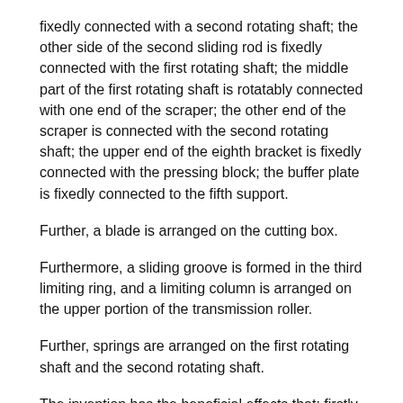fixedly connected with a second rotating shaft; the other side of the second sliding rod is fixedly connected with the first rotating shaft; the middle part of the first rotating shaft is rotatably connected with one end of the scraper; the other end of the scraper is connected with the second rotating shaft; the upper end of the eighth bracket is fixedly connected with the pressing block; the buffer plate is fixedly connected to the fifth support.
Further, a blade is arranged on the cutting box.
Furthermore, a sliding groove is formed in the third limiting ring, and a limiting column is arranged on the upper portion of the transmission roller.
Further, springs are arranged on the first rotating shaft and the second rotating shaft.
The invention has the beneficial effects that: firstly, in order to solve the problem that the white gourd comprises pulp, pulp and seeds, contains rich nutritional ingredients such as protein, carbohydrate, vitamins and mineral elements, is sweet in taste and cold in nature, has the effects of removing heat, inducing diuresis and reducing